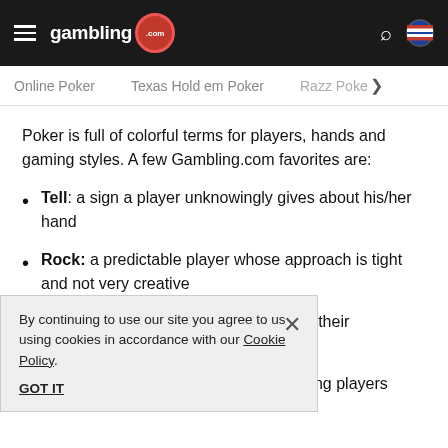gambling.com
Online Poker   Texas Hold em Poker   Razz Poke >
Poker is full of colorful terms for players, hands and gaming styles. A few Gambling.com favorites are:
Tell: a sign a player unknowingly gives about his/her hand
Rock: a predictable player whose approach is tight and not very creative
Tilt: when a player is being reckless in their
...ver who calls a lot,
Coffee Housing: deliberately misleading players
By continuing to use our site you agree to us using cookies in accordance with our Cookie Policy. GOT IT